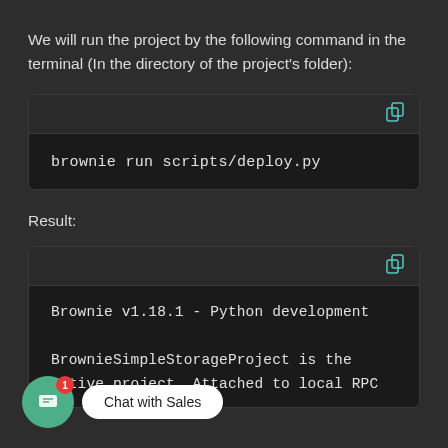We will run the project by the following command in the terminal (In the directory of the project's folder):
[Figure (screenshot): Dark-themed code block showing command: brownie run scripts/deploy.py]
Result:
[Figure (screenshot): Dark-themed terminal output block showing: Brownie v1.18.1 - Python development... BrownieSimpleStorageProject is the active project. Attached to local RPC]
Chat with Sales (overlay popup)